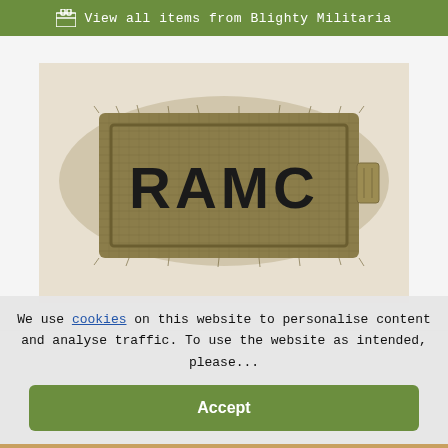View all items from Blighty Militaria
[Figure (photo): A khaki/olive woven fabric patch with the letters RAMC embroidered in dark thread, with frayed edges, on a light background.]
We use cookies on this website to personalise content and analyse traffic. To use the website as intended, please...
Accept